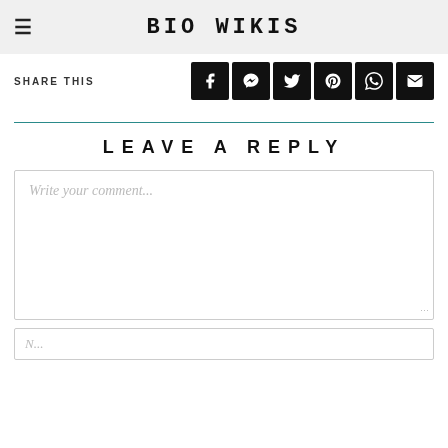BIO WIKIS
SHARE THIS
[Figure (infographic): Social media share buttons: Facebook, Messenger, Twitter, Pinterest, WhatsApp, Email]
LEAVE A REPLY
Write your comment...
N...